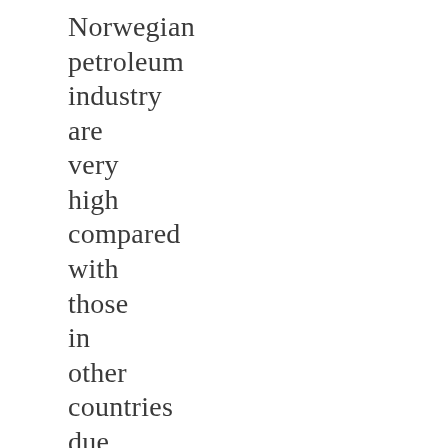Norwegian petroleum industry are very high compared with those in other countries due to policy instruments that